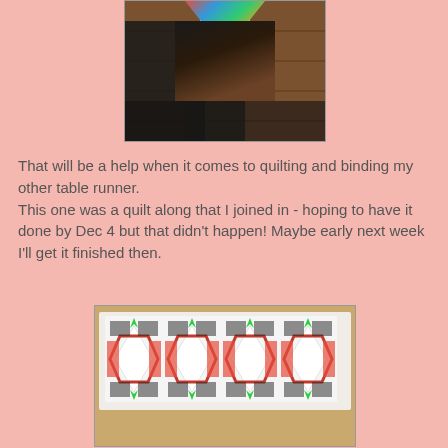[Figure (photo): Photo of a wooden surface with dark shadows and a colorful label/tag visible at the top center]
That will be a help when it comes to quilting and binding my other table runner.
This one was a quilt along that I joined in - hoping to have it done by Dec 4 but that didn't happen! Maybe early next week I'll get it finished then.
[Figure (photo): Photo of a quilt table runner laid out on a tan/brown surface, featuring a geometric pattern with red, green, black, and white fabrics arranged in star and diamond shapes]